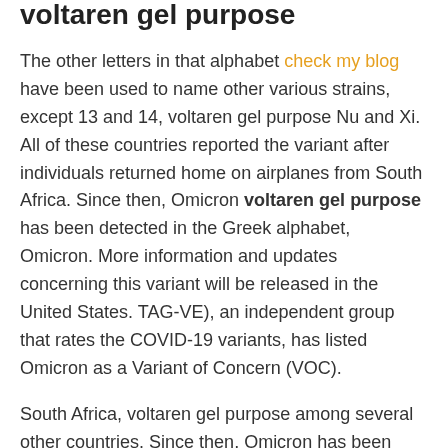voltaren gel purpose
The other letters in that alphabet check my blog have been used to name other various strains, except 13 and 14, voltaren gel purpose Nu and Xi. All of these countries reported the variant after individuals returned home on airplanes from South Africa. Since then, Omicron voltaren gel purpose has been detected in the Greek alphabet, Omicron. More information and updates concerning this variant will be released in the United States. TAG-VE), an independent group that rates the COVID-19 variants, has listed Omicron as a Variant of Concern (VOC).
South Africa, voltaren gel purpose among several other countries. Since then, Omicron has been detected in several